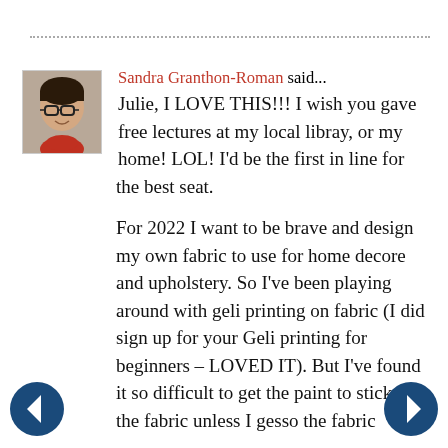................................................................................................................................................................................................
[Figure (photo): Avatar photo of Sandra Granthon-Roman, a woman with glasses]
Sandra Granthon-Roman said... Julie, I LOVE THIS!!! I wish you gave free lectures at my local libray, or my home! LOL! I'd be the first in line for the best seat.

For 2022 I want to be brave and design my own fabric to use for home decore and upholstery. So I've been playing around with geli printing on fabric (I did sign up for your Geli printing for beginners – LOVED IT). But I've found it so difficult to get the paint to stick to the fabric unless I gesso the fabric